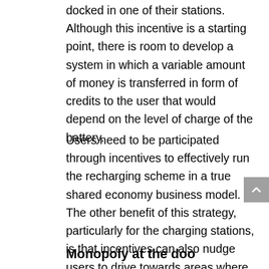docked in one of their stations. Although this incentive is a starting point, there is room to develop a system in which a variable amount of money is transferred in form of credits to the user that would depend on the level of charge of the battery.
Users need to be participated through incentives to effectively run the recharging scheme in a true shared economy business model. The other benefit of this strategy, particularly for the charging stations, is that incentives can also nudge users to drive towards areas where more vehicles are needed, and therefore help balance the operator's fleet.
Monopoly at the door